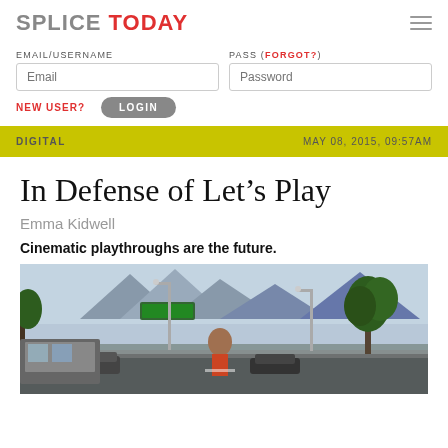SPLICE TODAY
EMAIL/USERNAME | Email input field
PASS (FORGOT?) | Password input field
NEW USER?
LOGIN
DIGITAL — MAY 08, 2015, 09:57AM
In Defense of Let’s Play
Emma Kidwell
Cinematic playthroughs are the future.
[Figure (photo): Screenshot from a video game showing an urban street scene with mountains in the background, cars, street lights, trees, and a character viewed from behind.]